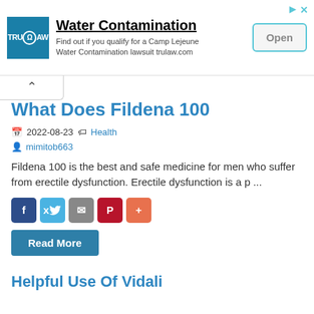[Figure (screenshot): TruLaw advertisement banner for Water Contamination Camp Lejeune lawsuit with Open button]
What Does Fildena 100
2022-08-23 Health
mimitob663
Fildena 100 is the best and safe medicine for men who suffer from erectile dysfunction. Erectile dysfunction is a p ...
Read More
Helpful Use Of Vidali